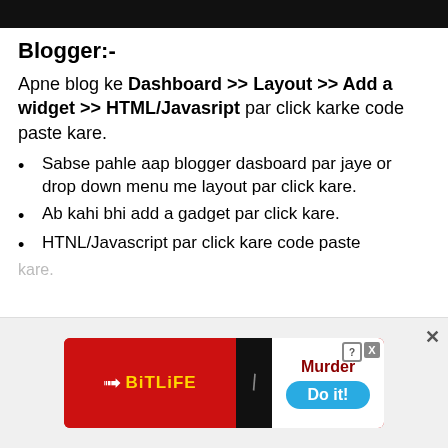[Figure (other): Black banner at the top of the page]
Blogger:-
Apne blog ke Dashboard >> Layout >> Add a widget >> HTML/Javasript par click karke code paste kare.
Sabse pahle aap blogger dasboard par jaye or drop down menu me layout par click kare.
Ab kahi bhi add a gadget par click kare.
HTNL/Javascript par click kare code paste kare.
[Figure (other): BitLife advertisement banner with 'Murder Do it!' text]